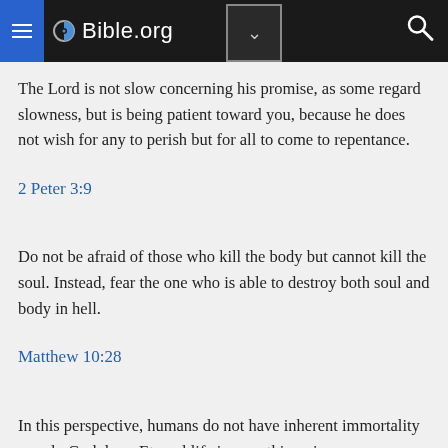Bible.org
The Lord is not slow concerning his promise, as some regard slowness, but is being patient toward you, because he does not wish for any to perish but for all to come to repentance.
2 Peter 3:9
Do not be afraid of those who kill the body but cannot kill the soul. Instead, fear the one who is able to destroy both soul and body in hell.
Matthew 10:28
In this perspective, humans do not have inherent immortality—only God does. Eternal life is something given